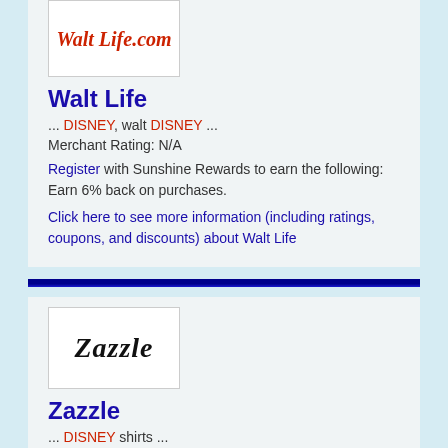[Figure (logo): Walt Life.com logo in red cursive text on white background with border]
Walt Life
... DISNEY, walt DISNEY ...
Merchant Rating: N/A
Register with Sunshine Rewards to earn the following: Earn 6% back on purchases.
Click here to see more information (including ratings, coupons, and discounts) about Walt Life
[Figure (logo): Zazzle logo in bold italic black text on white background with border]
Zazzle
... DISNEY shirts ...
Merchant Rating: 4.4